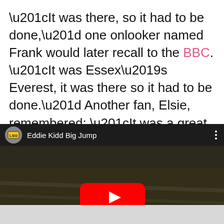“It was there, so it had to be done,” one onlooker named Frank would later recall to the BBC. “It was Essex’s Everest, it was there so it had to be done.” Another fan, Elsie, remembered: “It was a great big thrill to see the jump.”
[Figure (screenshot): YouTube video thumbnail showing 'Eddie Kidd Big Jump' with a dark brownish background and a red YouTube play button in the center. The video header shows a channel icon and three vertical dots menu.]